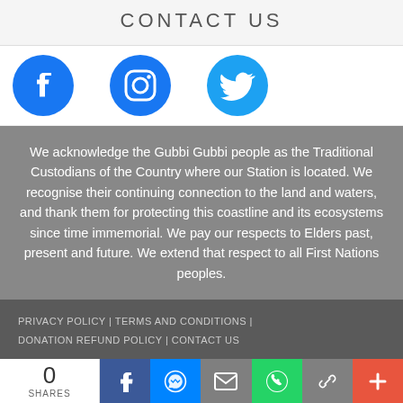CONTACT US
[Figure (logo): Three social media icons: Facebook (blue circle with white f), Instagram (blue circle with camera icon), Twitter (blue circle with white bird icon)]
We acknowledge the Gubbi Gubbi people as the Traditional Custodians of the Country where our Station is located. We recognise their continuing connection to the land and waters, and thank them for protecting this coastline and its ecosystems since time immemorial. We pay our respects to Elders past, present and future. We extend that respect to all First Nations peoples.
PRIVACY POLICY | TERMS AND CONDITIONS | DONATION REFUND POLICY | CONTACT US
[Figure (infographic): Social share bar showing 0 SHARES, with buttons for Facebook (blue), Messenger (blue), Email (grey), WhatsApp (green), Link (grey), and Plus/more (orange-red)]